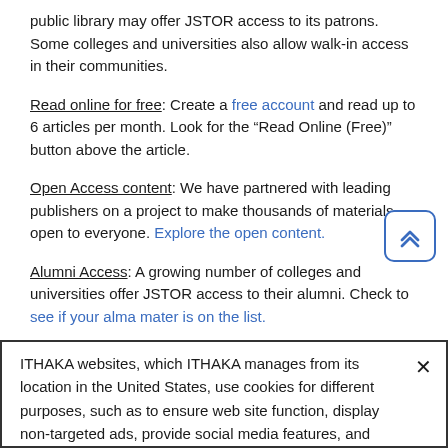public library may offer JSTOR access to its patrons. Some colleges and universities also allow walk-in access in their communities.
Read online for free: Create a free account and read up to 6 articles per month. Look for the “Read Online (Free)” button above the article.
Open Access content: We have partnered with leading publishers on a project to make thousands of materials open to everyone. Explore the open content.
Alumni Access: A growing number of colleges and universities offer JSTOR access to their alumni. Check to see if your alma mater is on the list.
JSTOR Daily: Our online magazine offers engaging editorial analysis of
ITHAKA websites, which ITHAKA manages from its location in the United States, use cookies for different purposes, such as to ensure web site function, display non-targeted ads, provide social media features, and track usage, engaging with third party service providers such as Google Analytics. You may manage non-essential cookies in “Cookie Settings”. For more information, please see our  Cookie Policy.